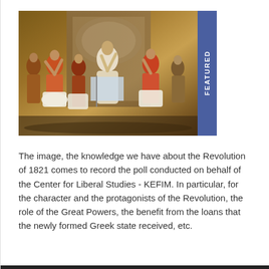[Figure (illustration): A historical painting depicting the Greek Revolution of 1821, showing multiple figures in traditional Greek clothing with raised arms. A 'FEATURED' badge appears in the upper right corner of the image.]
The image, the knowledge we have about the Revolution of 1821 comes to record the poll conducted on behalf of the Center for Liberal Studies - KEFIM. In particular, for the character and the protagonists of the Revolution, the role of the Great Powers, the benefit from the loans that the newly formed Greek state received, etc.